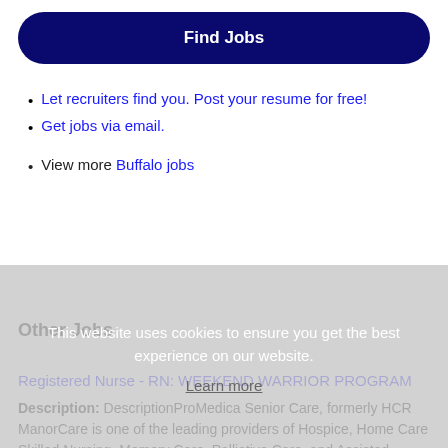Find Jobs
Let recruiters find you. Post your resume for free!
Get jobs via email.
View more Buffalo jobs
This website uses cookies to ensure you get the best experience on our website.
Learn more
Other Jobs
Registered Nurse - RN: WEEKEND WARRIOR PROGRAM
Description: DescriptionProMedica Senior Care, formerly HCR ManorCare is one of the leading providers of Hospice, Home Care Skilled Nursing, Memory Care, Palliative Care, and Assisted Independent Living.Heartland, (more...)